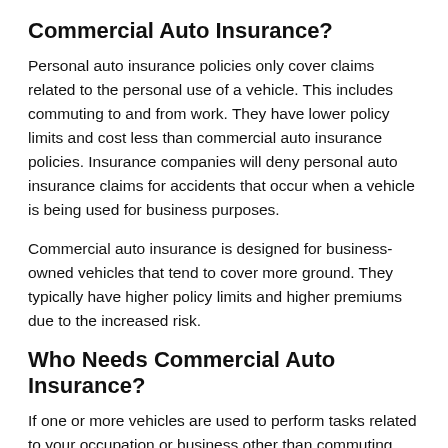Commercial Auto Insurance?
Personal auto insurance policies only cover claims related to the personal use of a vehicle. This includes commuting to and from work. They have lower policy limits and cost less than commercial auto insurance policies. Insurance companies will deny personal auto insurance claims for accidents that occur when a vehicle is being used for business purposes.
Commercial auto insurance is designed for business-owned vehicles that tend to cover more ground. They typically have higher policy limits and higher premiums due to the increased risk.
Who Needs Commercial Auto Insurance?
If one or more vehicles are used to perform tasks related to your occupation or business other than commuting, you probably need commercial auto insurance. This coverage is needed when vehicles are: